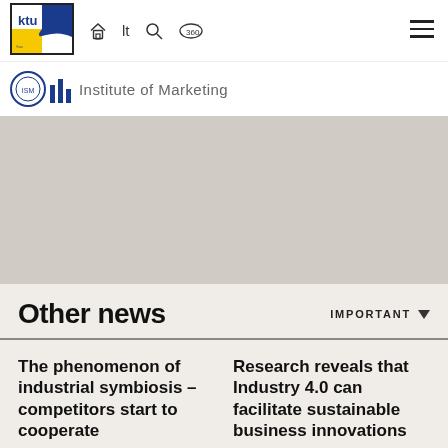KTU navigation bar with logo, home, lt, search, 360 icons, and hamburger menu
[Figure (logo): KTU university logo (blue and yellow) with navigation icons: home, lt, search, 360-degree]
Institute of Marketing
Other news
IMPORTANT
The phenomenon of industrial symbiosis – competitors start to cooperate
Research reveals that Industry 4.0 can facilitate sustainable business innovations